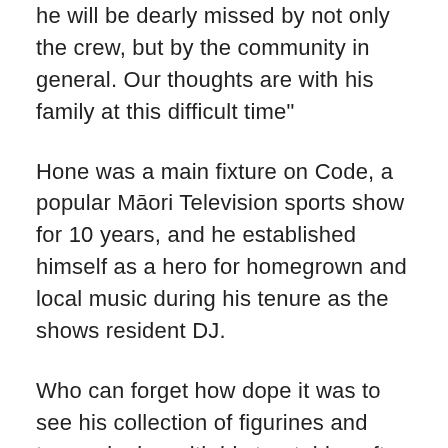he will be dearly missed by not only the crew, but by the community in general. Our thoughts are with his family at this difficult time"
Hone was a main fixture on Code, a popular Māori Television sports show for 10 years, and he established himself as a hero for homegrown and local music during his tenure as the shows resident DJ.
Who can forget how dope it was to see his collection of figurines and toys spinning with his turntables after every ad break?